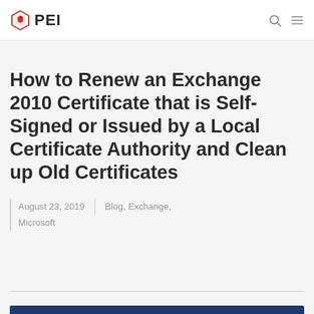PEI
How to Renew an Exchange 2010 Certificate that is Self-Signed or Issued by a Local Certificate Authority and Clean up Old Certificates
August 23, 2019 | Blog, Exchange, Microsoft